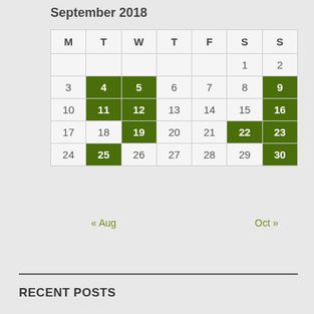September 2018
| M | T | W | T | F | S | S |
| --- | --- | --- | --- | --- | --- | --- |
|  |  |  |  |  | 1 | 2 |
| 3 | 4 | 5 | 6 | 7 | 8 | 9 |
| 10 | 11 | 12 | 13 | 14 | 15 | 16 |
| 17 | 18 | 19 | 20 | 21 | 22 | 23 |
| 24 | 25 | 26 | 27 | 28 | 29 | 30 |
« Aug     Oct »
RECENT POSTS